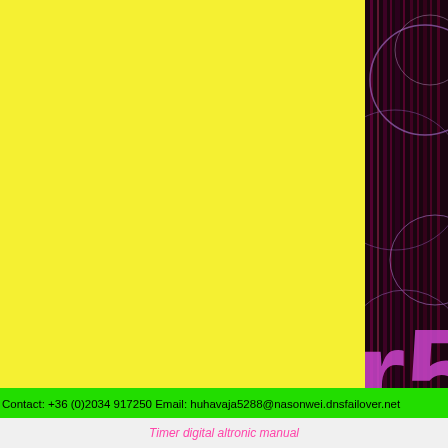[Figure (illustration): Right panel with dark purple/maroon background featuring vertical colored stripes, overlapping circles in purple/gray outlines, and large magenta/pink text 'r5' partially visible]
micropolishing the crankshaft journals improves oil flow and wedge.
crate engine is a modern 5. see full list on diyford. what is the best coyote engine? 4l su coyote engine family.
Contact: +36 (0)2034 917250 Email: huhavaja5288@nasonwei.dnsfailover.net
Timer digital altronic manual